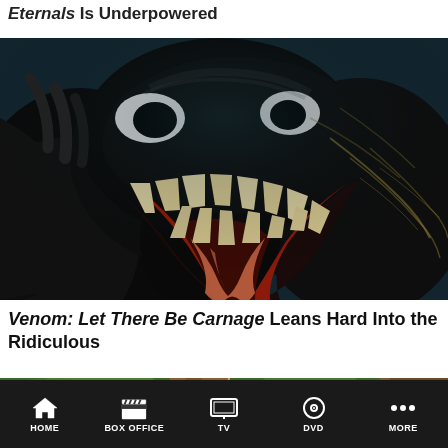Eternals Is Underpowered
[Figure (photo): Close-up of Venom character with wide open mouth showing teeth, dark symbiote creature with yellow-green veins against dark teal background]
Venom: Let There Be Carnage Leans Hard Into the Ridiculous
[Figure (photo): Partial view of a scene with a person with curly hair near a tree in a green outdoor setting]
HOME   BOX OFFICE   TV   DVD   MORE